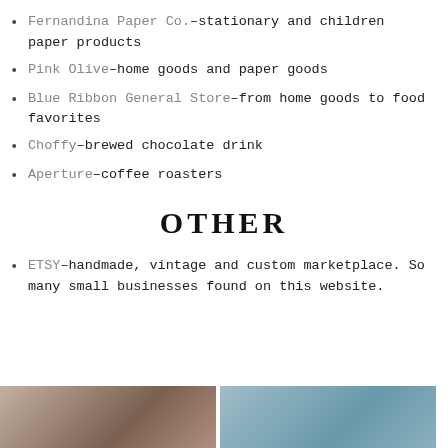Fernandina Paper Co.–stationary and children paper products
Pink Olive–home goods and paper goods
Blue Ribbon General Store–from home goods to food favorites
Choffy–brewed chocolate drink
Aperture–coffee roasters
OTHER
ETSY–handmade, vintage and custom marketplace. So many small businesses found on this website.
[Figure (photo): Photo on left side bottom of page]
[Figure (photo): Photo on right side bottom of page]